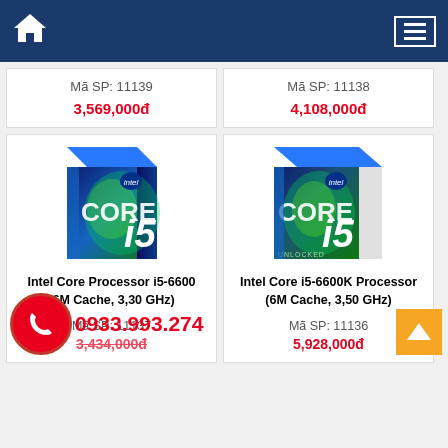Home / Menu navigation bar
Mã SP: 11139
3,569,000đ
Mã SP: 11138
4,108,000đ
[Figure (photo): Intel Core i5 processor box product photo - left]
Intel Core Processor i5-6600 (6M Cache, 3,30 GHz)
Mã SP: 11137
3,434,000đ
[Figure (photo): Intel Core i5-6600K processor box product photo - right]
Intel Core i5-6600K Processor (6M Cache, 3,50 GHz)
Mã SP: 11136
5,928,000đ
0933.993.274